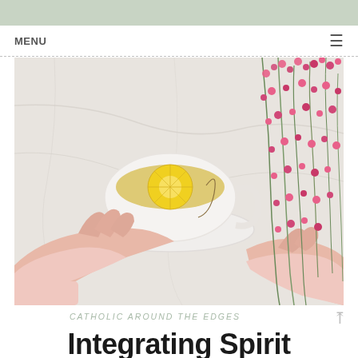MENU
[Figure (photo): Overhead flat-lay photo of two hands in pink sleeves holding a tea cup with a lemon slice on a marble surface, with pink wildflowers to the right]
CATHOLIC AROUND THE EDGES
Integrating Spirit